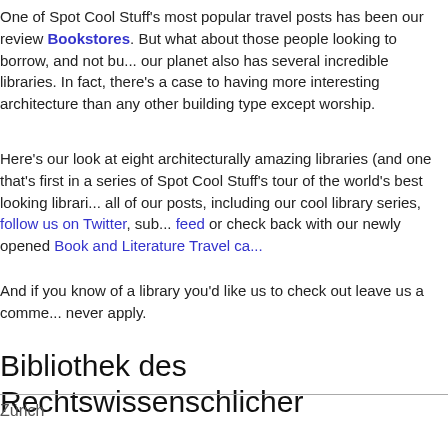One of Spot Cool Stuff's most popular travel posts has been our review of Bookstores. But what about those people looking to borrow, and not bu... our planet also has several incredible libraries. In fact, there's a case to having more interesting architecture than any other building type except worship.
Here's our look at eight architecturally amazing libraries (and one that's first in a series of Spot Cool Stuff's tour of the world's best looking librari... all of our posts, including our cool library series, follow us on Twitter, sub... feed or check back with our newly opened Book and Literature Travel ca...
And if you know of a library you'd like us to check out leave us a comme... never apply.
Bibliothek des Rechtswissenschliche...
Zürich